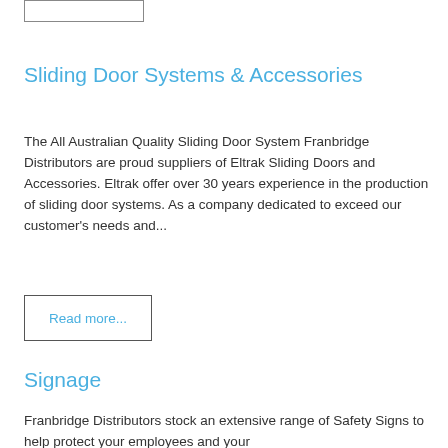[Figure (other): A rectangular button outline with no visible label at top of page]
Sliding Door Systems & Accessories
The All Australian Quality Sliding Door System Franbridge Distributors are proud suppliers of Eltrak Sliding Doors and Accessories. Eltrak offer over 30 years experience in the production of sliding door systems. As a company dedicated to exceed our customer's needs and...
Read more...
Signage
Franbridge Distributors stock an extensive range of Safety Signs to help protect your employees and your